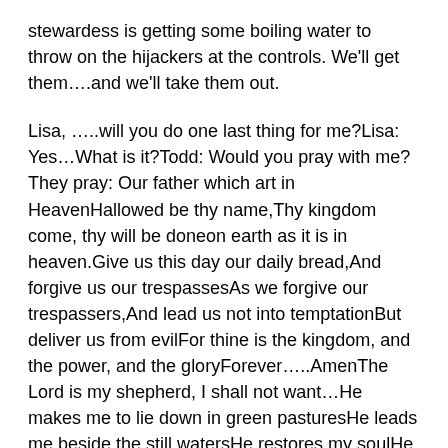stewardess is getting some boiling water to throw on the hijackers at the controls. We'll get them....and we'll take them out.
Lisa, …..will you do one last thing for me?Lisa: Yes…What is it?Todd: Would you pray with me?They pray: Our father which art in HeavenHallowed be thy name,Thy kingdom come, thy will be doneon earth as it is in heaven.Give us this day our daily bread,And forgive us our trespassesAs we forgive our trespassers,And lead us not into temptationBut deliver us from evilFor thine is the kingdom, and the power, and the gloryForever…..AmenThe Lord is my shepherd, I shall not want…He makes me to lie down in green pasturesHe leads me beside the still watersHe restores my soulHe leads me in paths of righteousnessfor His name's sakeYea, though I walk through the valley of the shadow of deathI will fear no evil, for thou art with